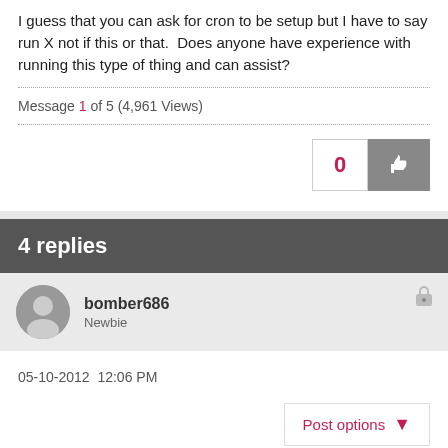I guess that you can ask for cron to be setup but I have to say run X not if this or that.  Does anyone have experience with running this type of thing and can assist?
Message 1 of 5 (4,961 Views)
0
4 replies
bomber686
Newbie
05-10-2012  12:06 PM
Post options